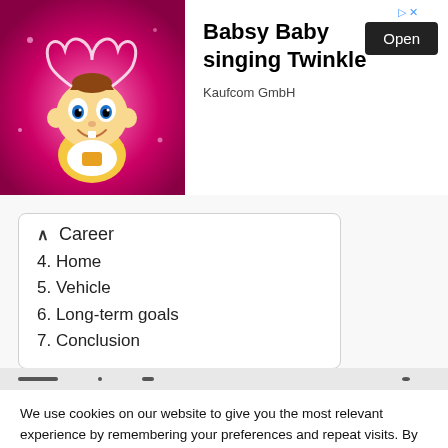[Figure (screenshot): Advertisement banner for 'Babsy Baby singing Twinkle' by Kaufcom GmbH, showing a cartoon baby on a pink background with an Open button]
Career
4. Home
5. Vehicle
6. Long-term goals
7. Conclusion
We use cookies on our website to give you the most relevant experience by remembering your preferences and repeat visits. By clicking "Accept All", you consent to the use of ALL the cookies. However, you may visit "Cookie Settings" to provide a controlled consent.
Cookie Settings | Accept All